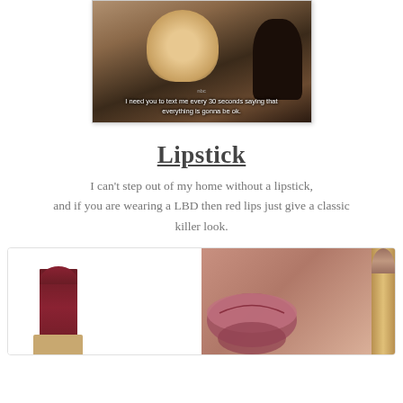[Figure (photo): Screenshot/GIF from TV show (Parks and Recreation) showing a blonde woman with subtitle text: 'I need you to text me every 30 seconds saying that everything is gonna be ok.']
Lipstick
I can't step out of my home without a lipstick, and if you are wearing a LBD then red lips just give a classic killer look.
[Figure (photo): Product photo showing two lipstick items: a dark red/burgundy lipstick bullet on a box on the left, and a mauve/rose lipstick with gold packaging next to close-up lips on the right.]